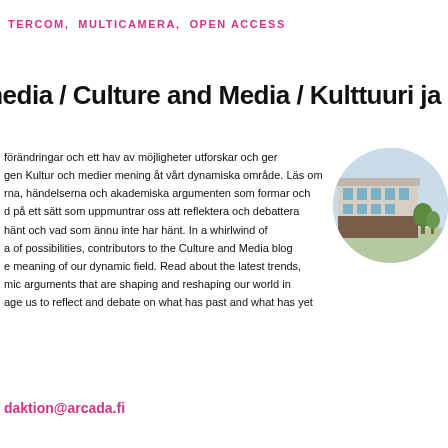TERCOM, MULTICAMERA, OPEN ACCESS
media / Culture and Media / Kulttuuri ja med
förändringar och ett hav av möjligheter utforskar och ger gen Kultur och medier mening åt vårt dynamiska område. Läs om rna, händelserna och akademiska argumenten som formar och d på ett sätt som uppmuntrar oss att reflektera och debattera hänt och vad som ännu inte har hänt. In a whirlwind of a of possibilities, contributors to the Culture and Media blog e meaning of our dynamic field. Read about the latest trends, mic arguments that are shaping and reshaping our world in age us to reflect and debate on what has past and what has yet
[Figure (photo): Circular cropped photo of a modern building exterior with glass and brick facade, trees visible]
daktion@arcada.fi